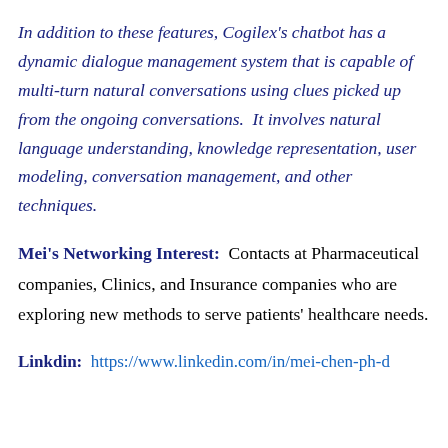In addition to these features, Cogilex's chatbot has a dynamic dialogue management system that is capable of multi-turn natural conversations using clues picked up from the ongoing conversations.  It involves natural language understanding, knowledge representation, user modeling, conversation management, and other techniques.
Mei's Networking Interest:  Contacts at Pharmaceutical companies, Clinics, and Insurance companies who are exploring new methods to serve patients' healthcare needs.
Linkdin:  https://www.linkedin.com/in/mei-chen-ph-d...